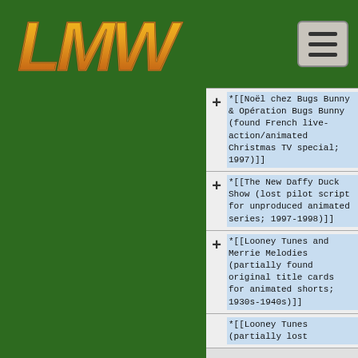[Figure (logo): LMW logo in orange/gold stylized text on dark green background header]
*[[Noël chez Bugs Bunny & Opération Bugs Bunny (found French live-action/animated Christmas TV special; 1997)]]
*[[The New Daffy Duck Show (lost pilot script for unproduced animated series; 1997-1998)]]
*[[Looney Tunes and Merrie Melodies (partially found original title cards for animated shorts; 1930s-1940s)]]
*[[Looney Tunes (partially lost